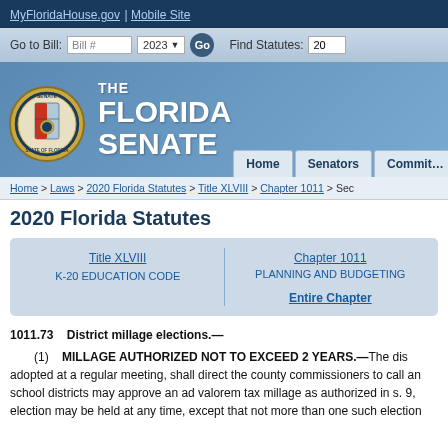MyFloridaHouse.gov | Mobile Site
[Figure (screenshot): Navigation bar with Go to Bill field, year selector 2023, Go button, and Find Statutes field]
[Figure (logo): Florida Senate seal and THE FLORIDA SENATE header with Home, Senators, Committees navigation tabs]
Home > Laws > 2020 Florida Statutes > Title XLVIII > Chapter 1011 > Sec
2020 Florida Statutes
| Title XLVIII | Chapter 1011 |
| --- | --- |
| K-20 EDUCATION CODE | PLANNING AND BUDGETING |
|  | Entire Chapter |
1011.73   District millage elections.—
(1)   MILLAGE AUTHORIZED NOT TO EXCEED 2 YEARS.—The dis adopted at a regular meeting, shall direct the county commissioners to call an school districts may approve an ad valorem tax millage as authorized in s. 9, election may be held at any time, except that not more than one such election